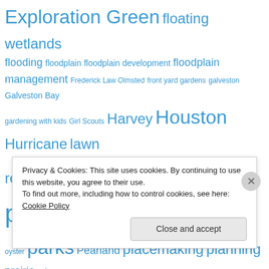Exploration Green floating wetlands flooding floodplain floodplain development floodplain management Frederick Law Olmsted front yard gardens galveston Galveston Bay gardening with kids Girl Scouts Harvey Houston Hurricane lawn reduction map mulch NASA native plants outdoor classroom oyster parks Pearland placemaking planning prairie rain gardens reef resilience restoration Richard Louv runoff schools septic system Sheldon Lake State Park stormwater management
Privacy & Cookies: This site uses cookies. By continuing to use this website, you agree to their use. To find out more, including how to control cookies, see here: Cookie Policy
Close and accept